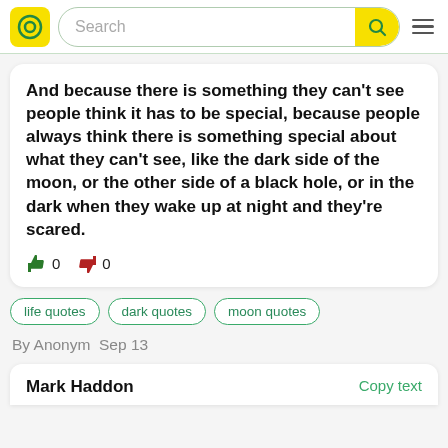Search [navigation bar with logo]
And because there is something they can't see people think it has to be special, because people always think there is something special about what they can't see, like the dark side of the moon, or the other side of a black hole, or in the dark when they wake up at night and they're scared.
life quotes
dark quotes
moon quotes
By Anonym  Sep 13
Mark Haddon   Copy text